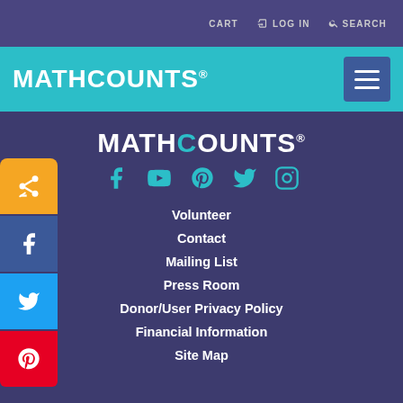CART  LOG IN  SEARCH
MATHCOUNTS®
[Figure (screenshot): MATHCOUNTS website header with teal background, white MATHCOUNTS logo, and hamburger menu button]
[Figure (logo): MATHCOUNTS white logo centered on dark purple background]
[Figure (infographic): Social media icons row: Facebook, YouTube, Pinterest, Twitter, Instagram in teal color]
Volunteer
Contact
Mailing List
Press Room
Donor/User Privacy Policy
Financial Information
Site Map
[Figure (infographic): Side social sharing buttons: share (yellow), Facebook (blue), Twitter (light blue), Pinterest (red)]